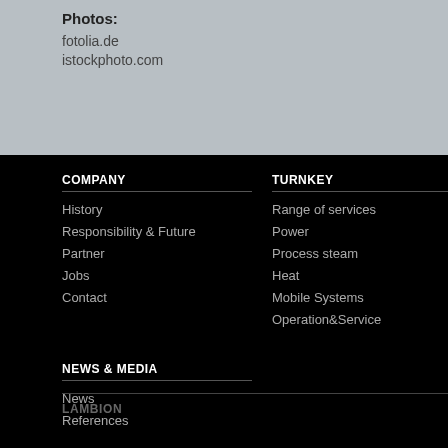Photos:
fotolia.de
istockphoto.com
COMPANY
History
Responsibility & Future
Partner
Jobs
Contact
TURNKEY
Range of services
Power
Process steam
Heat
Mobile Systems
Operation&Service
NEWS & MEDIA
News
References
LAMBION